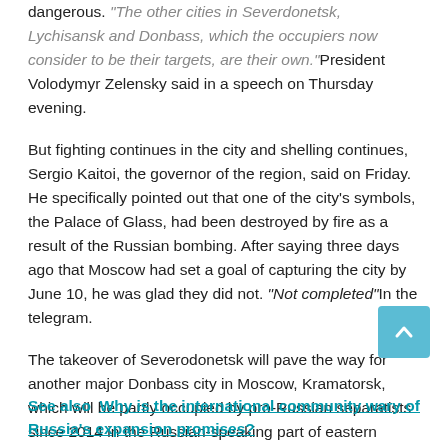dangerous. "The other cities in Severdonetsk, Lychisansk and Donbass, which the occupiers now consider to be their targets, are their own."President Volodymyr Zelensky said in a speech on Thursday evening.
But fighting continues in the city and shelling continues, Sergio Kaitoi, the governor of the region, said on Friday. He specifically pointed out that one of the city's symbols, the Palace of Glass, had been destroyed by fire as a result of the Russian bombing. After saying three days ago that Moscow had set a goal of capturing the city by June 10, he was glad they did not. "Not completed"In the telegram.
The takeover of Severodonetsk will pave the way for another major Donbass city in Moscow, Kramatorsk, which will be partly occupied by pro-Russian separatists since 2014 in the Russian-speaking part of eastern Ukraine in the entire Donbass Basin.
See also  Why is the international community wary of Russia's expansion promises?